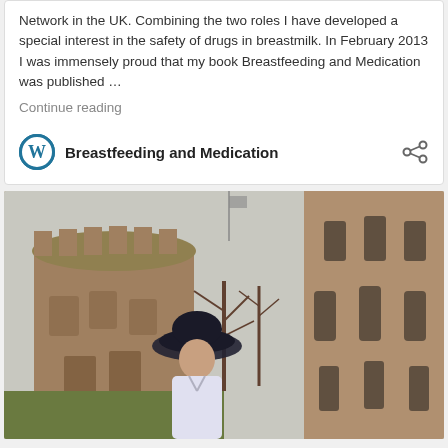Network in the UK. Combining the two roles I have developed a special interest in the safety of drugs in breastmilk. In February 2013 I was immensely proud that my book Breastfeeding and Medication was published … Continue reading
Breastfeeding and Medication
[Figure (photo): A woman wearing a dark wide-brimmed hat standing in front of Windsor Castle stone towers and walls. The castle's round tower and battlements are visible behind her, with bare trees in the background.]